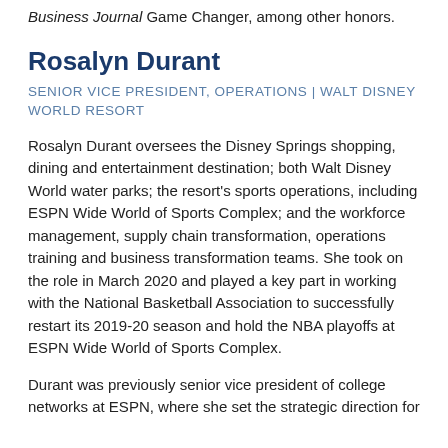Metro Women of Inspiration honoree, and a 2019 Sports Business Journal Game Changer, among other honors.
Rosalyn Durant
SENIOR VICE PRESIDENT, OPERATIONS | WALT DISNEY WORLD RESORT
Rosalyn Durant oversees the Disney Springs shopping, dining and entertainment destination; both Walt Disney World water parks; the resort's sports operations, including ESPN Wide World of Sports Complex; and the workforce management, supply chain transformation, operations training and business transformation teams. She took on the role in March 2020 and played a key part in working with the National Basketball Association to successfully restart its 2019-20 season and hold the NBA playoffs at ESPN Wide World of Sports Complex.
Durant was previously senior vice president of college networks at ESPN, where she set the strategic direction for